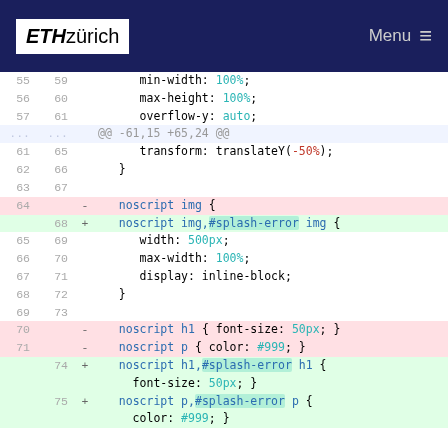ETH zürich  Menu
[Figure (screenshot): Code diff view showing CSS changes. Lines 55-75+ with removed (red background) and added (green background) lines. Shows changes to noscript and #splash-error CSS selectors.]